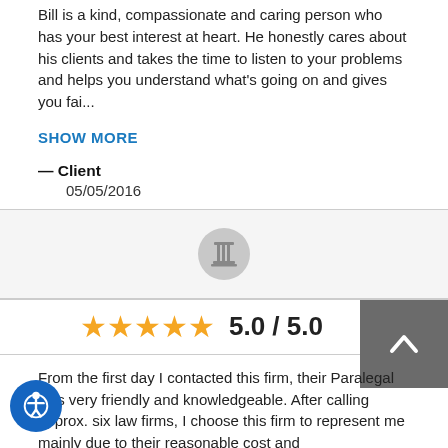Bill is a kind, compassionate and caring person who has your best interest at heart. He honestly cares about his clients and takes the time to listen to your problems and helps you understand what's going on and gives you fai...
SHOW MORE
— Client
05/05/2016
[Figure (logo): Gray circular icon with a classical column/pillar symbol inside]
[Figure (other): 5 orange stars rating with text 5.0 / 5.0]
From the first day I contacted this firm, their Paralegal was very friendly and knowledgeable. After calling approx. six law firms, I choose this firm to represent me mainly due to their reasonable cost and professionalism.